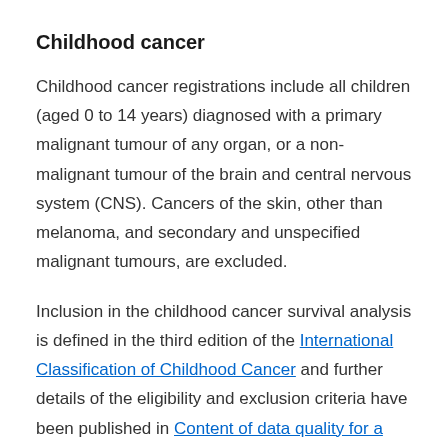Childhood cancer
Childhood cancer registrations include all children (aged 0 to 14 years) diagnosed with a primary malignant tumour of any organ, or a non-malignant tumour of the brain and central nervous system (CNS). Cancers of the skin, other than melanoma, and secondary and unspecified malignant tumours, are excluded.
Inclusion in the childhood cancer survival analysis is defined in the third edition of the International Classification of Childhood Cancer and further details of the eligibility and exclusion criteria have been published in Content of data quality for a population...